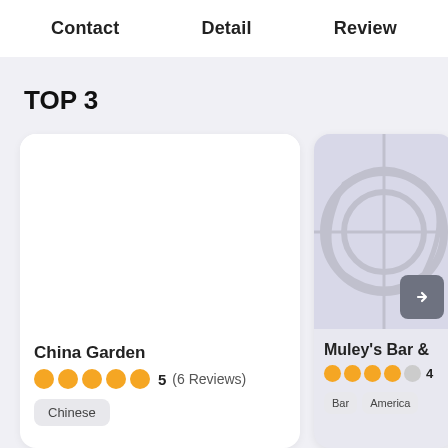Contact | Detail | Review
TOP 3
China Garden — 5 stars (6 Reviews) — Chinese
Muley's Bar & — 4 stars — Bar, America